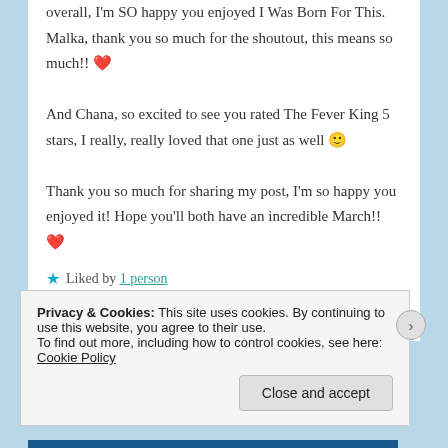overall, I'm SO happy you enjoyed I Was Born For This. Malka, thank you so much for the shoutout, this means so much!! ❤️ And Chana, so excited to see you rated The Fever King 5 stars, I really, really loved that one just as well 🙂 Thank you so much for sharing my post, I'm so happy you enjoyed it! Hope you'll both have an incredible March!! ❤️
★ Liked by 1 person
Reply
Privacy & Cookies: This site uses cookies. By continuing to use this website, you agree to their use. To find out more, including how to control cookies, see here: Cookie Policy